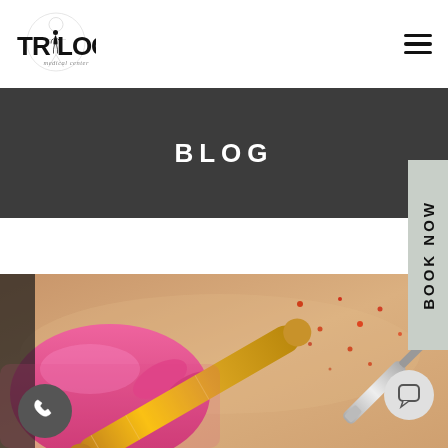[Figure (logo): Trilogy Medical Center logo with stylized figure and text]
BLOG
[Figure (photo): Close-up photo of a medical/cosmetic procedure: gloved hands in pink latex holding a gold micro-needling or injection pen near skin with small red spots]
BOOK NOW
[Figure (other): Phone call button icon (circular gray button with phone handset)]
[Figure (other): Chat button icon (circular light gray button with speech bubble)]